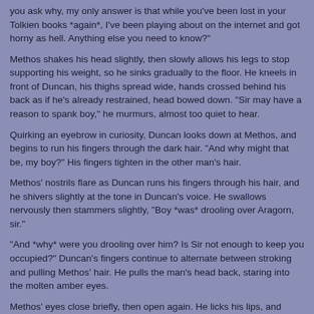you ask why, my only answer is that while you've been lost in your Tolkien books *again*, I've been playing about on the internet and got horny as hell. Anything else you need to know?"
Methos shakes his head slightly, then slowly allows his legs to stop supporting his weight, so he sinks gradually to the floor. He kneels in front of Duncan, his thighs spread wide, hands crossed behind his back as if he's already restrained, head bowed down. "Sir may have a reason to spank boy," he murmurs, almost too quiet to hear.
Quirking an eyebrow in curiosity, Duncan looks down at Methos, and begins to run his fingers through the dark hair. "And why might that be, my boy?" His fingers tighten in the other man's hair.
Methos' nostrils flare as Duncan runs his fingers through his hair, and he shivers slightly at the tone in Duncan's voice. He swallows nervously then stammers slightly, "Boy *was* drooling over Aragorn, sir."
"And *why* were you drooling over him? Is Sir not enough to keep you occupied?" Duncan's fingers continue to alternate between stroking and pulling Methos' hair. He pulls the man's head back, staring into the molten amber eyes.
Methos' eyes close briefly, then open again. He licks his lips, and says, "Sir is more than enough to keep Boy occupied. Just...he *is* a work of art, and boy appreciates art in all its forms."
Duncan chuckles at the candor in Methos' words. "Yes, I know very well how much Boy appreciates art." He leans down, taking Methos' lips in a demanding kiss, then abruptly stands up again. "Now, I do believe we need to punish you, my boy." His words are soft, silky, with a steely undertone.